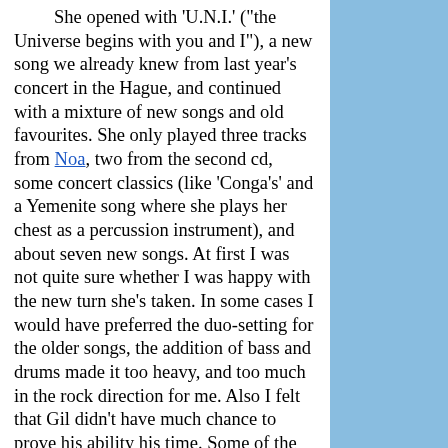She opened with 'U.N.I.' ("the Universe begins with you and I"), a new song we already knew from last year's concert in the Hague, and continued with a mixture of new songs and old favourites. She only played three tracks from Noa, two from the second cd, some concert classics (like 'Conga's' and a Yemenite song where she plays her chest as a percussion instrument), and about seven new songs. At first I was not quite sure whether I was happy with the new turn she's taken. In some cases I would have preferred the duo-setting for the older songs, the addition of bass and drums made it too heavy, and too much in the rock direction for me. Also I felt that Gil didn't have much chance to prove his ability his time. Some of the new arrangements for the